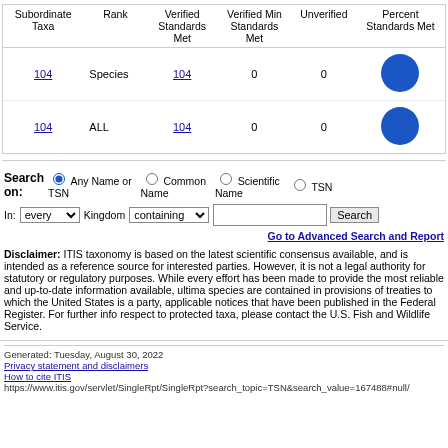| Subordinate Taxa | Rank | Verified Standards Met | Verified Min Standards Met | Unverified | Percent Standards Met |
| --- | --- | --- | --- | --- | --- |
| 104 | Species | 104 | 0 | 0 | (circle) |
| 104 | ALL | 104 | 0 | 0 | (circle) |
Search on: (radio) Any Name or TSN  (radio) Common Name  (radio) Scientific Name  (radio) TSN
In: every Kingdom containing  [text]  Search
Go to Advanced Search and Report
Disclaimer: ITIS taxonomy is based on the latest scientific consensus available, and is intended as a reference source for interested parties. However, it is not a legal authority for statutory or regulatory purposes. While every effort has been made to provide the most reliable and up-to-date information available, ultimate legal requirements with respect to species are contained in provisions of treaties to which the United States is a party, wildlife statutes, regulations, and any applicable notices that have been published in the Federal Register. For further information on U.S. legal requirements with respect to protected taxa, please contact the U.S. Fish and Wildlife Service.
Generated: Tuesday, August 30, 2022
Privacy statement and disclaimers
How to cite ITIS
https://www.itis.gov/servlet/SingleRpt/SingleRpt?search_topic=TSN&search_value=167488#null/